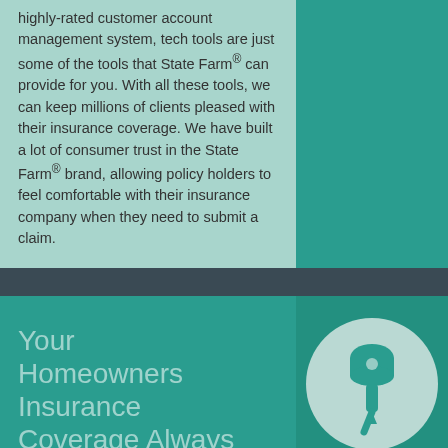highly-rated customer account management system, tech tools are just some of the tools that State Farm® can provide for you. With all these tools, we can keep millions of clients pleased with their insurance coverage. We have built a lot of consumer trust in the State Farm® brand, allowing policy holders to feel comfortable with their insurance company when they need to submit a claim.
Your Homeowners Insurance Coverage Always
[Figure (illustration): A pushpin / thumbtack icon in teal color inside a large light-colored circle, on a dark teal background.]